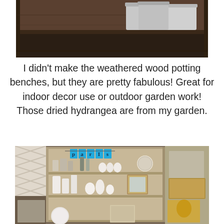[Figure (photo): Photo of weathered wood potting bench with plastic buckets/containers on a shelf, dark wood tones]
I didn't make the weathered wood potting benches, but they are pretty fabulous!  Great for indoor decor use or outdoor garden work!  Those dried hydrangea are from my garden.
[Figure (photo): Photo of a shelving unit decorated with Paris-themed blue pennant banner, various white decorative items, vintage frames, candles, and collectibles in a shop or display setting]